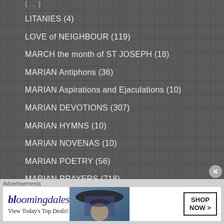LITANIES (4)
LOVE of NEIGHBOUR (119)
MARCH the month of ST JOSEPH (18)
MARIAN Antiphons (36)
MARIAN Aspirations and Ejaculations (10)
MARIAN DEVOTIONS (307)
MARIAN HYMNS (10)
MARIAN NOVENAS (10)
MARIAN POETRY (56)
MARIAN PRAYERS (718)
[Figure (screenshot): Bloomingdales advertisement banner: 'View Today's Top Deals!' with SHOP NOW > button and woman in hat image]